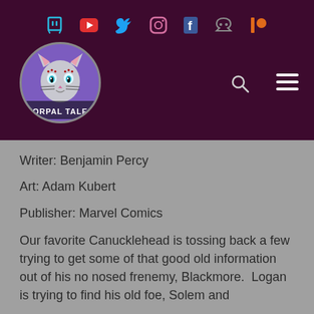[Figure (logo): Social media icons bar: Twitch (teal), YouTube (red), Twitter (blue), Instagram (pink outline), Facebook (blue), Discord (gray), Patreon (orange)]
[Figure (logo): Vorpal Tales circular logo with illustrated cat face on purple background, white border, text VORPAL TALES at bottom]
Writer: Benjamin Percy
Art: Adam Kubert
Publisher: Marvel Comics
Our favorite Canucklehead is tossing back a few trying to get some of that good old information out of his no nosed frenemy, Blackmore.  Logan is trying to find his old foe, Solem and